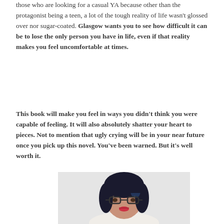those who are looking for a casual YA because other than the protagonist being a teen, a lot of the tough reality of life wasn't glossed over nor sugar-coated. Glasgow wants you to see how difficult it can be to lose the only person you have in life, even if that reality makes you feel uncomfortable at times.
This book will make you feel in ways you didn't think you were capable of feeling. It will also absolutely shatter your heart to pieces. Not to mention that ugly crying will be in your near future once you pick up this novel. You've been warned. But it's well worth it.
[Figure (photo): A woman with short dark hair with blue highlights, glasses, and red lips, wearing a light-colored top, photographed against a light gray background.]